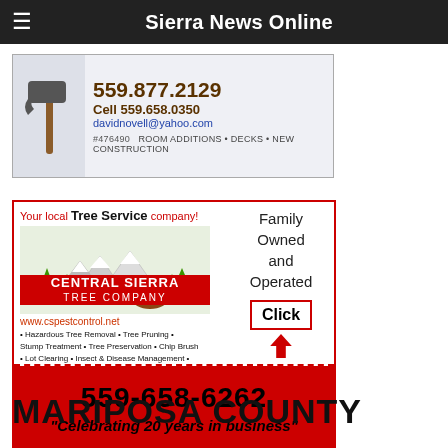Sierra News Online
[Figure (infographic): Contractor advertisement: phone 559.877.2129, Cell 559.658.0350, davidnovell@yahoo.com, #476490, ROOM ADDITIONS · DECKS · NEW CONSTRUCTION, with hammer image]
[Figure (infographic): Central Sierra Tree Company advertisement. Your local Tree Service company! Family Owned and Operated. Click. www.cspestcontrol.net. Hazardous Tree Removal · Tree Pruning · Stump Treatment · Tree Preservation · Chip Brush · Lot Clearing · Insect & Disease Management. 559-658-6262. Celebrating 20 years in business.]
MARIPOSA COUNTY